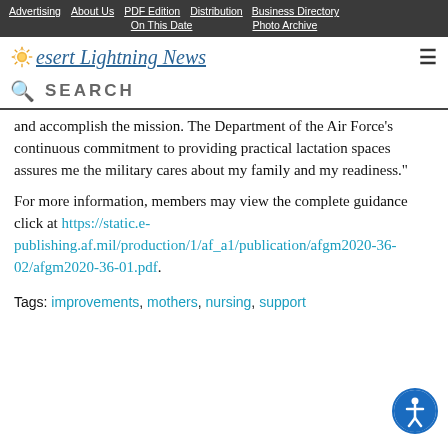Advertising | About Us | PDF Edition | Distribution | Business Directory | On This Date | Photo Archive
Desert Lightning News
SEARCH
and accomplish the mission. The Department of the Air Force’s continuous commitment to providing practical lactation spaces assures me the military cares about my family and my readiness.”
For more information, members may view the complete guidance click at https://static.e-publishing.af.mil/production/1/af_a1/publication/afgm2020-36-02/afgm2020-36-01.pdf.
Tags: improvements, mothers, nursing, support